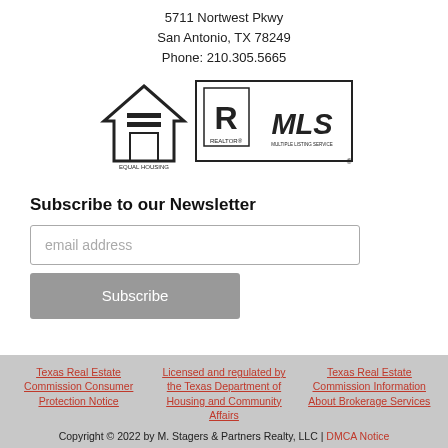5711 Nortwest Pkwy
San Antonio, TX 78249
Phone: 210.305.5665
[Figure (logo): Equal Housing Opportunity logo and Realtor MLS logo side by side]
Subscribe to our Newsletter
email address
Subscribe
Texas Real Estate Commission Consumer Protection Notice
Licensed and regulated by the Texas Department of Housing and Community Affairs
Texas Real Estate Commission Information About Brokerage Services
Copyright © 2022 by M. Stagers & Partners Realty, LLC | DMCA Notice